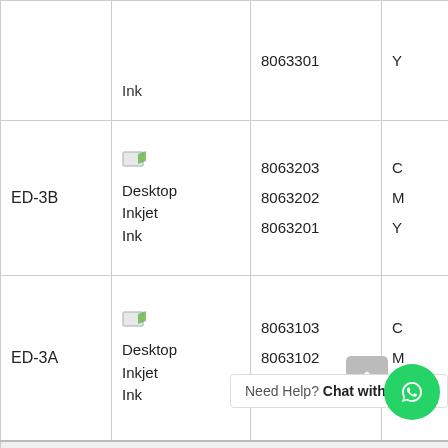|  | Product | Code | Color | Type |
| --- | --- | --- | --- | --- |
|  | Ink | 8063301 | Y |  |
| ED-3B | Desktop Inkjet Ink | 8063203
8063202
8063201 | C
M
Y | Dye |
| ED-3A | Desktop Inkjet Ink | 8063103
8063102
8063101 | C
M
Y | Dye |
| Packing: 20Kg | 1Kg | 500g | 250g | 100g |